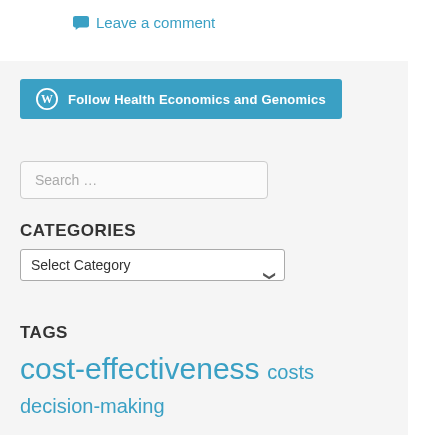Leave a comment
[Figure (other): WordPress Follow button: Follow Health Economics and Genomics]
Search ...
CATEGORIES
Select Category
TAGS
cost-effectiveness  costs  decision-making